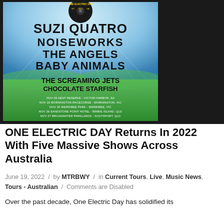[Figure (photo): Concert poster for One Electric Day festival featuring artists: Suzi Quatro, Noiseworks, The Angels, Baby Animals, The Screaming Jets, Chocolate Starfish. Lists five tour dates: Nov 05 Kent Reserve Victor Harbor SA, Nov 19 Mornington Racecourse Mornington VIC, Nov 20 Werribee Park Werribee VIC, Nov 26 Sandstone Point Hotel Bribie Island QLD, Nov 27 Broadwater Parklands Southport QLD.]
ONE ELECTRIC DAY Returns In 2022 With Five Massive Shows Across Australia
June 19, 2022 / by MTRBWY / in Current Tours, Live, Music News, Tours - Australian / Comments are Disabled
Over the past decade, One Electric Day has solidified its